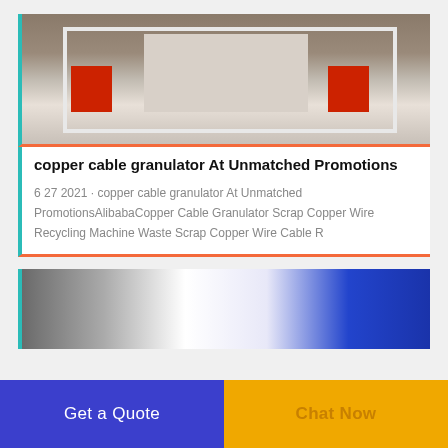[Figure (photo): Industrial copper cable granulator machine with red and white components in a workshop setting]
copper cable granulator At Unmatched Promotions
6 27 2021 · copper cable granulator At Unmatched PromotionsAlibabaCopper Cable Granulator Scrap Copper Wire Recycling Machine Waste Scrap Copper Wire Cable R
[Figure (photo): Industrial machinery with white and blue components, likely a cable recycling machine]
Get a Quote
Chat Now